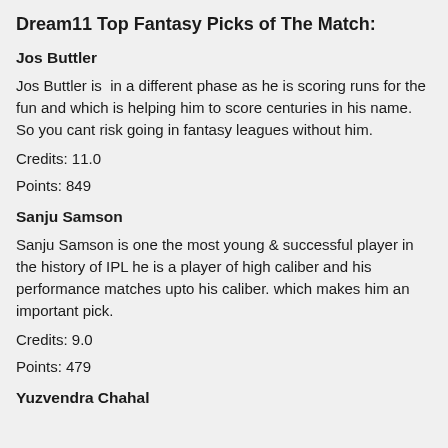Dream11 Top Fantasy Picks of The Match:
Jos Buttler
Jos Buttler is  in a different phase as he is scoring runs for the fun and which is helping him to score centuries in his name. So you cant risk going in fantasy leagues without him.
Credits: 11.0
Points: 849
Sanju Samson
Sanju Samson is one the most young & successful player in the history of IPL he is a player of high caliber and his performance matches upto his caliber. which makes him an important pick.
Credits: 9.0
Points: 479
Yuzvendra Chahal